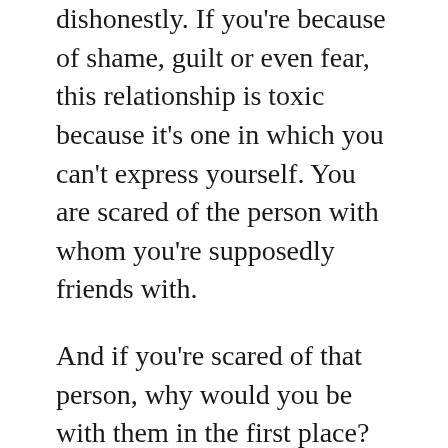dishonestly. If you're because of shame, guilt or even fear, this relationship is toxic because it's one in which you can't express yourself. You are scared of the person with whom you're supposedly friends with.
And if you're scared of that person, why would you be with them in the first place? You should be able to tell them anything without fear of consequences.
You may not want your friends to know certain things because you're not comfortable and I think that's perfectly normal but you shouldn't be hiding it, you should simply tell them you don't want to give them this information because you don't have that kind of relationship with them.